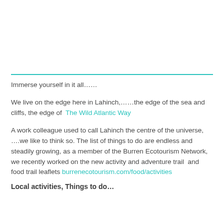Immerse yourself in it all……
We live on the edge here in Lahinch,……the edge of the sea and cliffs, the edge of  The Wild Atlantic Way
A work colleague used to call Lahinch the centre of the universe, ….we like to think so. The list of things to do are endless and steadily growing, as a member of the Burren Ecotourism Network, we recently worked on the new activity and adventure trail  and food trail leaflets burrenecotourism.com/food/activities
Local activities, Things to do…